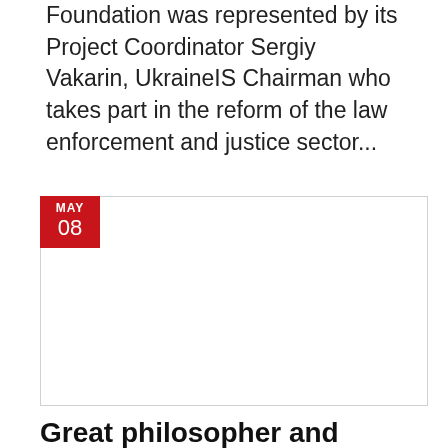Foundation was represented by its Project Coordinator Sergiy Vakarin, UkraineIS Chairman who takes part in the reform of the law enforcement and justice sector...
[Figure (photo): News article card with a date badge showing MAY 08 in red, and a white/blank image area with a border]
Great philosopher and